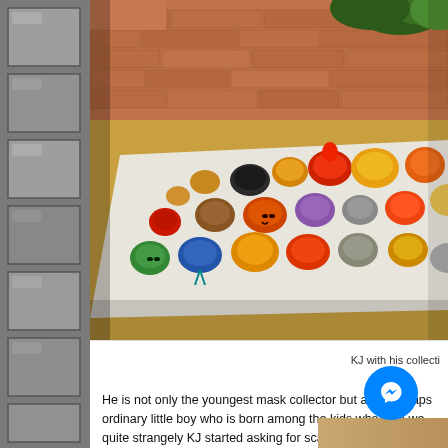[Figure (photo): Photo of a collection of colorful Bhutanese masks laid out on a white cloth on a tiled floor, with a brick wall and terracotta pots in the background.]
KJ with his collecti...
He is not only the youngest mask collector but also perhaps ordinary little boy who is born among the kids who love we quite strangely KJ started asking for scary Bhutanese masks. Sometimes he would ask for a specific mask an rents collection is built mask by mask, from Paro, T nd B names and can even locate where each of them are bought f